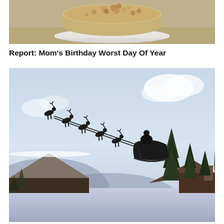[Figure (photo): Close-up photo of a cake with crumbly topping on a white cake stand, photographed from below against a neutral background.]
Report: Mom's Birthday Worst Day Of Year
[Figure (photo): Photo of Santa's sleigh and reindeer silhouetted against a light blue winter sky, flying over a snowy landscape with snow-covered rooftops and evergreen trees.]